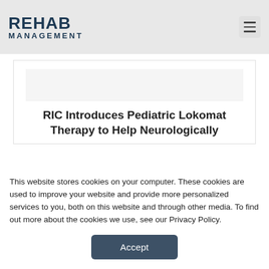[Figure (logo): Rehab Management logo — bold dark blue text REHAB large, MANAGEMENT smaller below]
RIC Introduces Pediatric Lokomat Therapy to Help Neurologically
This website stores cookies on your computer. These cookies are used to improve your website and provide more personalized services to you, both on this website and through other media. To find out more about the cookies we use, see our Privacy Policy.
Accept